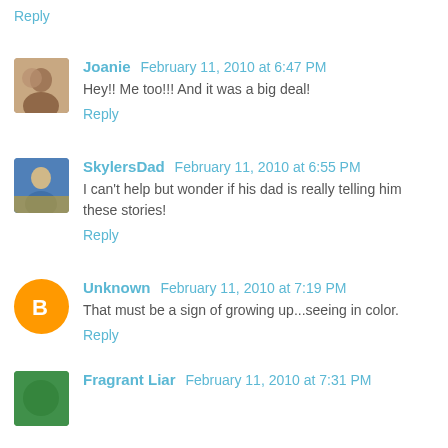Reply
Joanie  February 11, 2010 at 6:47 PM
Hey!! Me too!!! And it was a big deal!
Reply
SkylersDad  February 11, 2010 at 6:55 PM
I can't help but wonder if his dad is really telling him these stories!
Reply
Unknown  February 11, 2010 at 7:19 PM
That must be a sign of growing up...seeing in color.
Reply
Fragrant Liar  February 11, 2010 at 7:31 PM